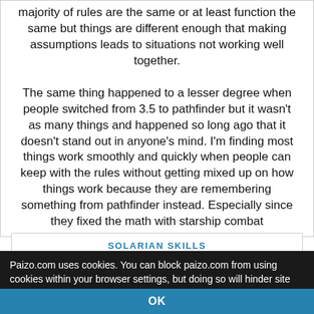majority of rules are the same or at least function the same but things are different enough that making assumptions leads to situations not working well together.

The same thing happened to a lesser degree when people switched from 3.5 to pathfinder but it wasn't as many things and happened so long ago that it doesn't stand out in anyone's mind. I'm finding most things work smoothly and quickly when people can keep with the rules without getting mixed up on how things work because they are remembering something from pathfinder instead. Especially since they fixed the math with starship combat
SOLARIAN SKILLS
Paizo.com uses cookies. You can block paizo.com from using cookies within your browser settings, but doing so will hinder site functionality. More information can be found in our Privacy Policy.
OK